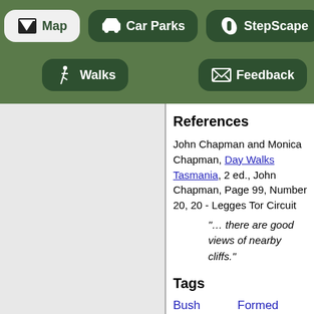Map | Car Parks | StepScape | Search | Walks | Feedback
References
John Chapman and Monica Chapman, Day Walks Tasmania, 2 ed., John Chapman, Page 99, Number 20, 20 - Legges Tor Circuit
“… there are good views of nearby cliffs.”
Tags
Bush
Formed track
Views
Rockhopping
Carr Villa up to Ben Lomond